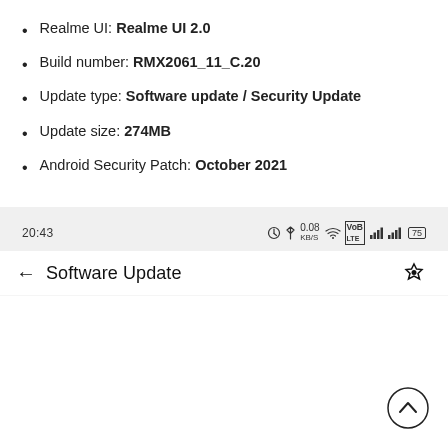Realme UI: Realme UI 2.0
Build number: RMX2061_11_C.20
Update type: Software update / Security Update
Update size: 274MB
Android Security Patch: October 2021
20:43  alarm bluetooth 0.08 KB/S wifi VoLTE signal signal 75%
← Software Update
[Figure (other): Scroll-to-top circular button with upward chevron arrow]